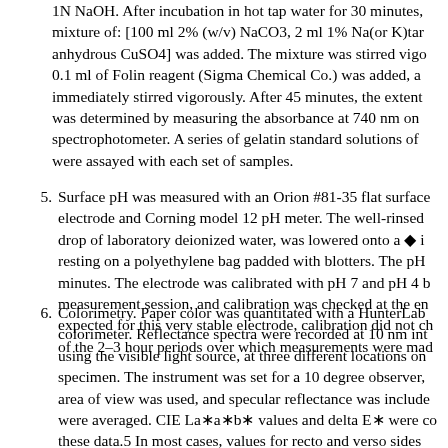1N NaOH. After incubation in hot tap water for 30 minutes, mixture of: [100 ml 2% (w/v) NaCO3, 2 ml 1% Na(or K)tar anhydrous CuSO4] was added. The mixture was stirred vigo 0.1 ml of Folin reagent (Sigma Chemical Co.) was added, a immediately stirred vigorously. After 45 minutes, the extent was determined by measuring the absorbance at 740 nm on spectrophotometer. A series of gelatin standard solutions of were assayed with each set of samples.
5. Surface pH was measured with an Orion #81-35 flat surface electrode and Corning model 12 pH meter. The well-rinsed drop of laboratory deionized water, was lowered onto a ◆ i resting on a polyethylene bag padded with blotters. The pH minutes. The electrode was calibrated with pH 7 and pH 4 b measurement session, and calibration was checked at the en expected for this very stable electrode, calibration did not c of the 2–3 hour periods over which measurements were mad
6. Colorimetry. Paper color was quantitated with a HunterLab colorimeter. Reflectance spectra were recorded at 10 nm int using the visible light source, at three different locations on specimen. The instrument was set for a 10 degree observer, area of view was used, and specular reflectance was include were averaged. CIE La∗a∗b∗ values and delta E∗ were c these data.5 In most cases, values for recto and verso sides papers treated identically in the two experiments, did not di other. Thus, the values were averaged, and standard deviatio